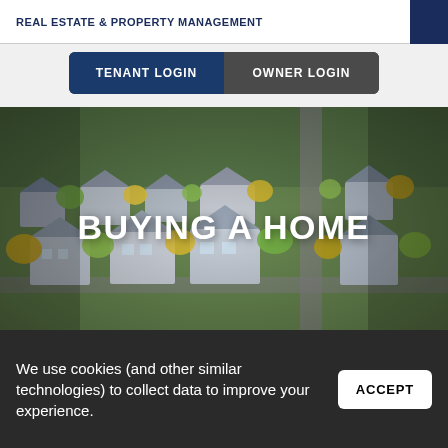REAL ESTATE & PROPERTY MANAGEMENT
TENANT LOGIN  OWNER LOGIN
[Figure (photo): Aerial view of a suburban residential neighborhood with houses, trees, and streets visible from above with a tilt-shift photography effect.]
BUYING A HOME
BROWSE OUR LISTINGS
We use cookies (and other similar technologies) to collect data to improve your experience.
ACCEPT